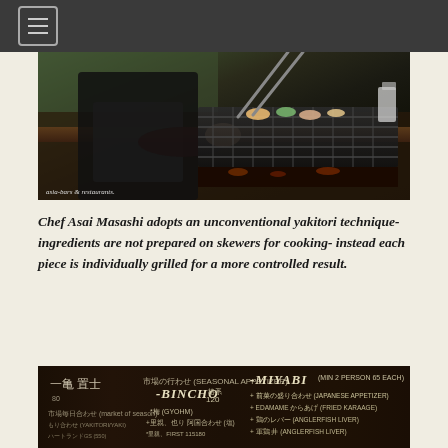≡
[Figure (photo): Chef Asai Masashi grilling food individually on a charcoal grill in a restaurant kitchen, with a watermark reading 'asia-bars & restaurants' at the bottom left]
Chef Asai Masashi adopts an unconventional yakitori technique- ingredients are not prepared on skewers for cooking- instead each piece is individually grilled for a more controlled result.
[Figure (photo): A chalkboard menu showing BINCHO and MIYABI course options with Japanese text and prices, written in white chalk on a dark brown chalkboard]